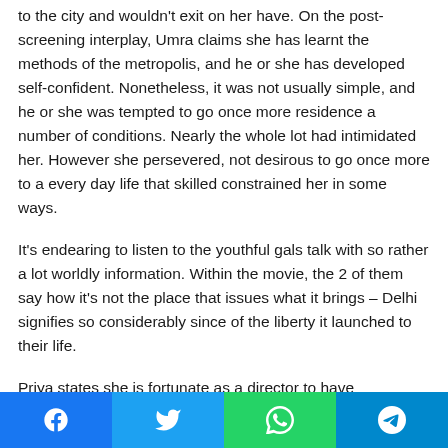to the city and wouldn't exit on her have. On the post-screening interplay, Umra claims she has learnt the methods of the metropolis, and he or she has developed self-confident. Nonetheless, it was not usually simple, and he or she was tempted to go once more residence a number of conditions. Nearly the whole lot had intimidated her. However she persevered, not desirous to go once more to a every day life that skilled constrained her in some ways.
It's endearing to listen to the youthful gals talk with so rather a lot worldly information. Within the movie, the 2 of them say how it's not the place that issues what it brings – Delhi signifies so considerably since of the liberty it launched to their life.
Priya states she is fortunate as a director to have purchased
[Figure (other): Social media share buttons bar: Facebook, Twitter, WhatsApp, Telegram]